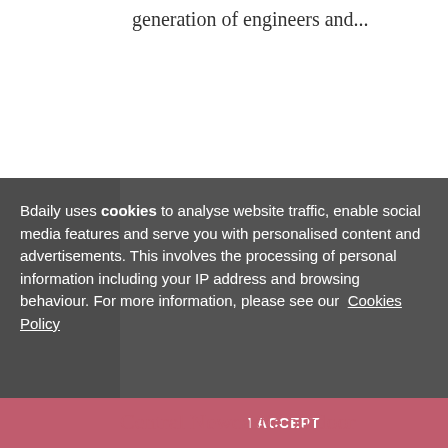generation of engineers and...
Bdaily uses cookies to analyse website traffic, enable social media features and serve you with personalised content and advertisements. This involves the processing of personal information including your IP address and browsing behaviour. For more information, please see our Cookies Policy
I ACCEPT
Central Newcastle outdoor
entertainment venue reveal...